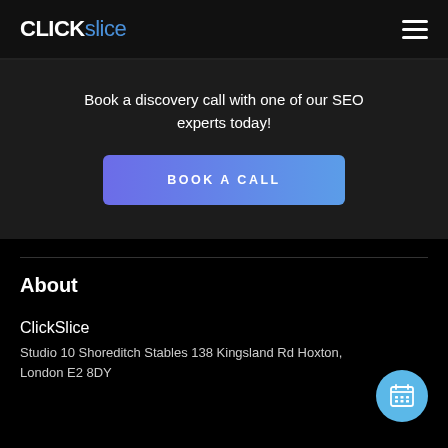CLICK slice
Book a discovery call with one of our SEO experts today!
BOOK A CALL
About
ClickSlice
Studio 10 Shoreditch Stables 138 Kingsland Rd Hoxton, London E2 8DY